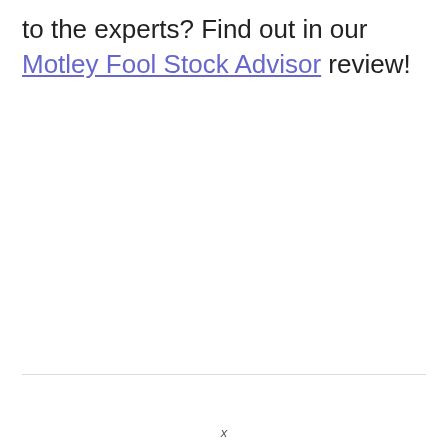to the experts? Find out in our Motley Fool Stock Advisor review!